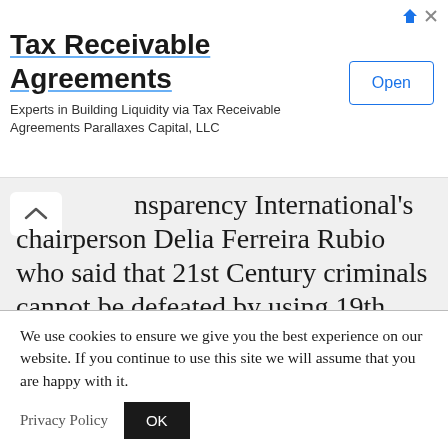[Figure (other): Advertisement banner for Tax Receivable Agreements by Parallaxes Capital LLC with an Open button and ad icons]
nsparency International's chairperson Delia Ferreira Rubio who said that 21st Century criminals cannot be defeated by using 19th Century tools and procedures.

“My message is, please do not adapt to
We use cookies to ensure we give you the best experience on our website. If you continue to use this site we will assume that you are happy with it.
Privacy Policy
OK